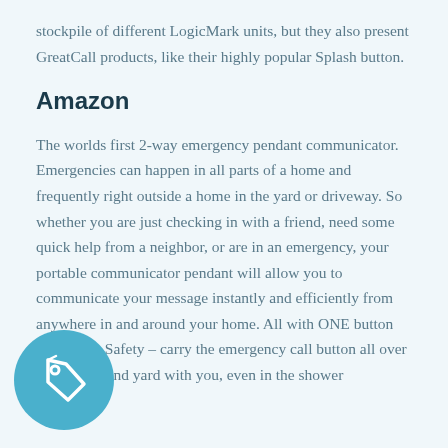stockpile of different LogicMark units, but they also present GreatCall products, like their highly popular Splash button.
Amazon
The worlds first 2-way emergency pendant communicator. Emergencies can happen in all parts of a home and frequently right outside a home in the yard or driveway. So whether you are just checking in with a friend, need some quick help from a neighbor, or are in an emergency, your portable communicator pendant will allow you to communicate your message instantly and efficiently from anywhere in and around your [home]. All with ONE button activation. Safety – [carry] the emergency call button all over your home and yard with you, even in the shower
[Figure (illustration): Circular teal/blue badge with a price tag or label icon in white]